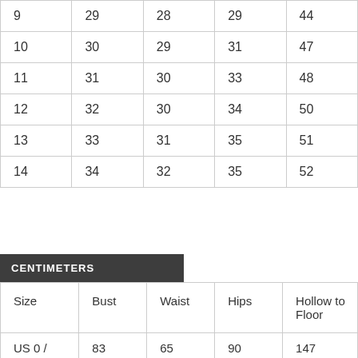| 9 | 29 | 28 | 29 | 44 |
| 10 | 30 | 29 | 31 | 47 |
| 11 | 31 | 30 | 33 | 48 |
| 12 | 32 | 30 | 34 | 50 |
| 13 | 33 | 31 | 35 | 51 |
| 14 | 34 | 32 | 35 | 52 |
CENTIMETERS
| Size | Bust | Waist | Hips | Hollow to Floor |
| --- | --- | --- | --- | --- |
| US 0 / EU 30 / UK 4 | 83 | 65 | 90 | 147 |